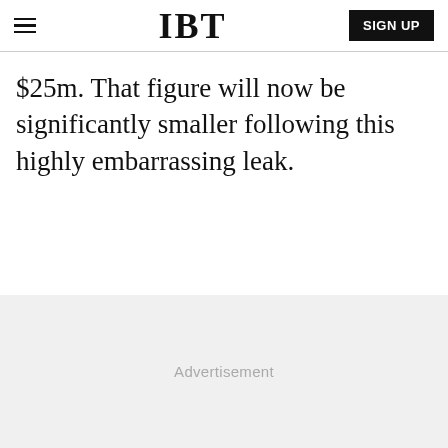IBT
$25m. That figure will now be significantly smaller following this highly embarrassing leak.
[Figure (other): Advertisement placeholder area with light gray background and centered 'Advertisement' label]